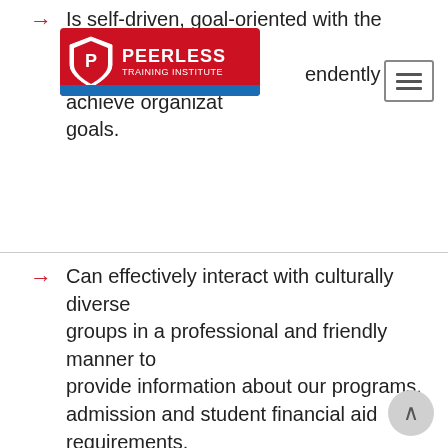Is self-driven, goal-oriented with the ability to work independently to achieve organizational goals.
[Figure (logo): Peerless Training Institute logo: red background with shield icon, white text 'PEERLESS' and 'TRAINING INSTITUTE', blue bar at bottom]
Can effectively interact with culturally diverse groups in a professional and friendly manner to provide information about our programs, admission and student financial aid requirements.
Has the ability to conduct outreach, work independently and in a team environment.
Besides English, speaks a second language: Mandarin, Cantonese, Tagalog, Sudanese, Spanish, Punjabi, Hindi, Urdu are an added advantage.